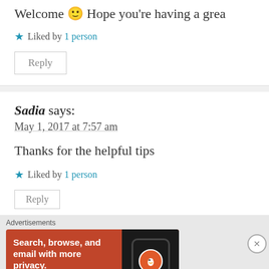Welcome 🙂 Hope you're having a grea
★ Liked by 1 person
Reply
Sadia says:
May 1, 2017 at 7:57 am
Thanks for the helpful tips
★ Liked by 1 person
Advertisements
[Figure (screenshot): DuckDuckGo advertisement banner with orange background showing 'Search, browse, and email with more privacy. All in One Free App' with a phone image and DuckDuckGo logo]